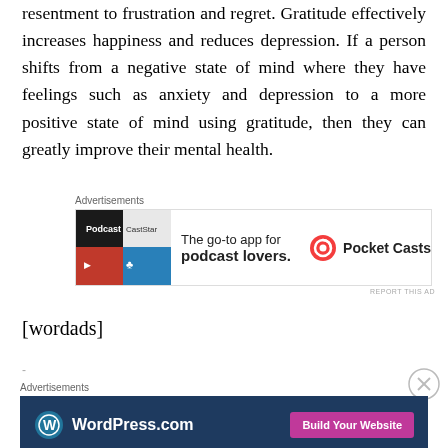resentment to frustration and regret. Gratitude effectively increases happiness and reduces depression. If a person shifts from a negative state of mind where they have feelings such as anxiety and depression to a more positive state of mind using gratitude, then they can greatly improve their mental health.
[Figure (other): Pocket Casts advertisement banner: 'The go-to app for podcast lovers.' with Pocket Casts logo]
[wordads]
[Figure (other): WordPress.com advertisement banner with 'Build Your Website' button]